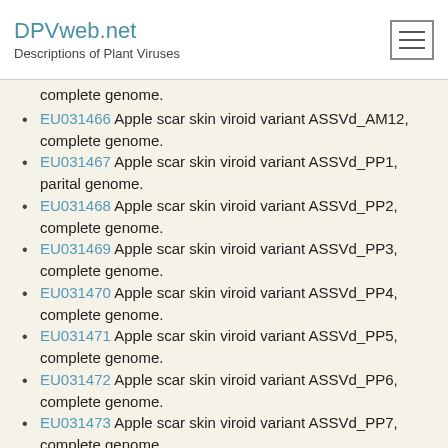DPVweb.net
Descriptions of Plant Viruses
complete genome.
EU031466 Apple scar skin viroid variant ASSVd_AM12, complete genome.
EU031467 Apple scar skin viroid variant ASSVd_PP1, parital genome.
EU031468 Apple scar skin viroid variant ASSVd_PP2, complete genome.
EU031469 Apple scar skin viroid variant ASSVd_PP3, complete genome.
EU031470 Apple scar skin viroid variant ASSVd_PP4, complete genome.
EU031471 Apple scar skin viroid variant ASSVd_PP5, complete genome.
EU031472 Apple scar skin viroid variant ASSVd_PP6, complete genome.
EU031473 Apple scar skin viroid variant ASSVd_PP7, complete genome.
EU031474 Apple scar skin viroid variant ASSVd_PP8, complete genome.
EU031475 Apple scar skin viroid variant ASSVd_PP9,